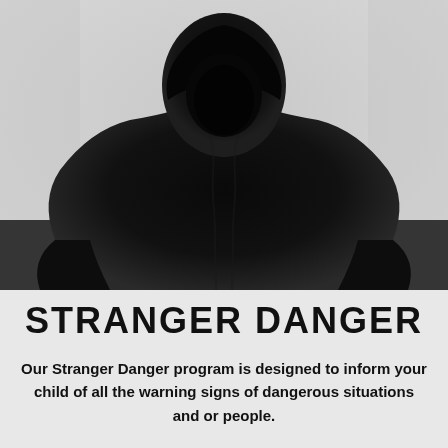[Figure (photo): A dark silhouette of a person wearing a hoodie against a light gray background. The face is not visible, creating an ominous, shadowy figure.]
STRANGER DANGER
Our Stranger Danger program is designed to inform your child of all the warning signs of dangerous situations and or people.